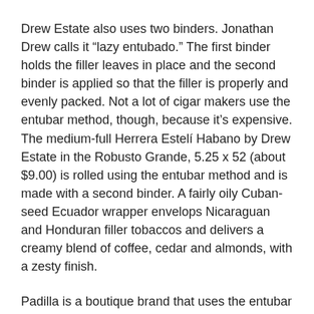Drew Estate also uses two binders. Jonathan Drew calls it “lazy entubado.” The first binder holds the filler leaves in place and the second binder is applied so that the filler is properly and evenly packed. Not a lot of cigar makers use the entubar method, though, because it’s expensive. The medium-full Herrera Estelí Habano by Drew Estate in the Robusto Grande, 5.25 x 52 (about $9.00) is rolled using the entubar method and is made with a second binder. A fairly oily Cuban-seed Ecuador wrapper envelops Nicaraguan and Honduran filler tobaccos and delivers a creamy blend of coffee, cedar and almonds, with a zesty finish.
Padilla is a boutique brand that uses the entubar method in Honduras. I’d urge you try the Padilla Artemis Torpedo, 6.25 x 52 (about $5.00), a medium-full Nicaraguan puro made in Honduras. There are strong cedar and pepper notes, very earthy, but with a sweet finish.